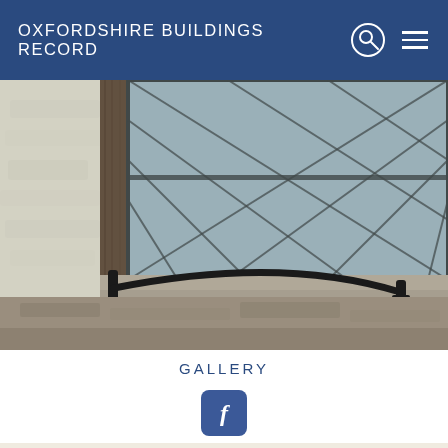OXFORDSHIRE BUILDINGS RECORD
[Figure (photo): Close-up photo of a wrought iron boot scraper or door bracket attached to a stone wall beside a wooden door frame and leaded glass window]
GALLERY
[Figure (logo): Facebook social media button - blue rounded square with white 'f' letter]
Loose Tenons attaching Butt